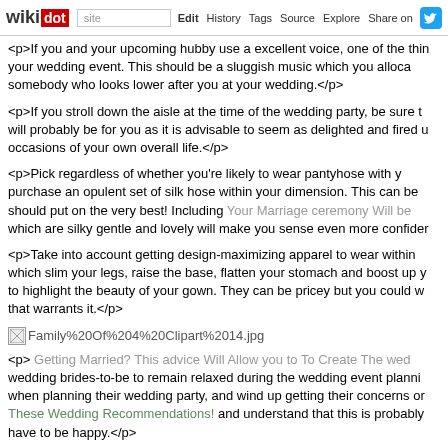wikidot | site | Edit | History | Tags | Source | Explore | Share on Twitter
<p>If you and your upcoming hubby use a excellent voice, one of the things... your wedding event. This should be a sluggish music which you alloca... somebody who looks lower after you at your wedding.</p>
<p>If you stroll down the aisle at the time of the wedding party, be sure t... will probably be for you as it is advisable to seem as delighted and fired u... occasions of your own overall life.</p>
<p>Pick regardless of whether you're likely to wear pantyhose with y... purchase an opulent set of silk hose within your dimension. This can be... should put on the very best! Including Your Marriage ceremony Will be... which are silky gentle and lovely will make you sense even more confiden...</p>
<p>Take into account getting design-maximizing apparel to wear within... which slim your legs, raise the base, flatten your stomach and boost up y... to highlight the beauty of your gown. They can be pricey but you could w... that warrants it.</p>
[Figure (illustration): Broken image placeholder with filename Family%20Of%204%20Clipart%2014.jpg]
<p> Getting Married? This advice Will Allow you to To Create The we... wedding brides-to-be to remain relaxed during the wedding event planni... when planning their wedding party, and wind up getting their concerns or... These Wedding Recommendations! and understand that this is probably... have to be happy.</p>
<p>Brides to be which have sensitive pores and skin will get a lot less str... taking care of their epidermis so that it appears excellent and won't m... available. Inquiring with regards to a wedding spa remedy which has ski...</p>